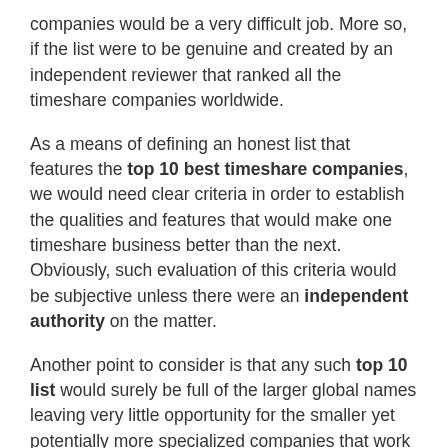companies would be a very difficult job. More so, if the list were to be genuine and created by an independent reviewer that ranked all the timeshare companies worldwide.
As a means of defining an honest list that features the top 10 best timeshare companies, we would need clear criteria in order to establish the qualities and features that would make one timeshare business better than the next. Obviously, such evaluation of this criteria would be subjective unless there were an independent authority on the matter.
Another point to consider is that any such top 10 list would surely be full of the larger global names leaving very little opportunity for the smaller yet potentially more specialized companies that work within just one area or country, like The Villa Group